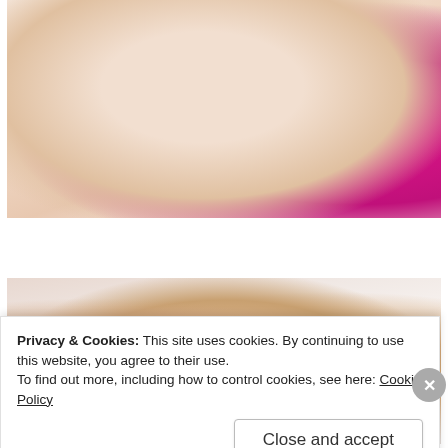[Figure (photo): Partial view of a baby or person being held, with a bright magenta/pink tutu visible on the right side. Warm skin tones dominate the upper portion.]
[Figure (photo): A sleeping newborn baby girl lying on a white blanket, wearing a pink headband with a yellow and pink flower. The baby is curled in a natural newborn pose.]
Privacy & Cookies: This site uses cookies. By continuing to use this website, you agree to their use.
To find out more, including how to control cookies, see here: Cookie Policy
Close and accept